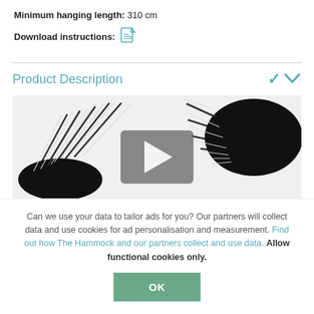Minimum hanging length:  310 cm
Download instructions:  [PDF icon]
Product Description
[Figure (photo): Black hammock with white rope strands fanning out from both ends, shown against a white background. A video play button overlay is visible in the center.]
Can we use your data to tailor ads for you? Our partners will collect data and use cookies for ad personalisation and measurement. Find out how The Hammock and our partners collect and use data. Allow functional cookies only.
OK